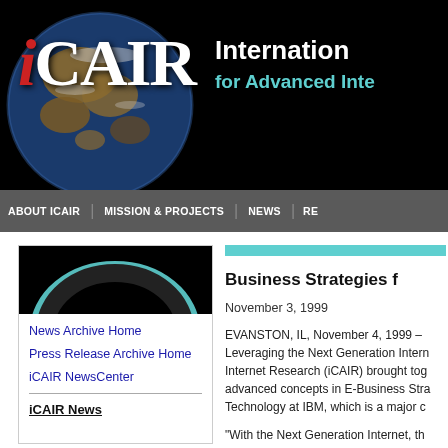[Figure (illustration): iCAIR website header banner with globe image on black background showing iCAIR logo text and 'International for Advanced Inte...' subtitle in teal]
ABOUT ICAIR   MISSION & PROJECTS   NEWS   RE
[Figure (photo): Sidebar thumbnail image showing a dark background with a teal/cyan arc or ring, possibly a planet or globe close-up]
News Archive Home
Press Release Archive Home
iCAIR NewsCenter
iCAIR News
Business Strategies f
November 3, 1999
EVANSTON, IL, November 4, 1999 – Leveraging the Next Generation Intern Internet Research (iCAIR) brought tog advanced concepts in E-Business Stra Technology at IBM, which is a major c
"With the Next Generation Internet, th applications," said John Patrick, Vice a next generation...